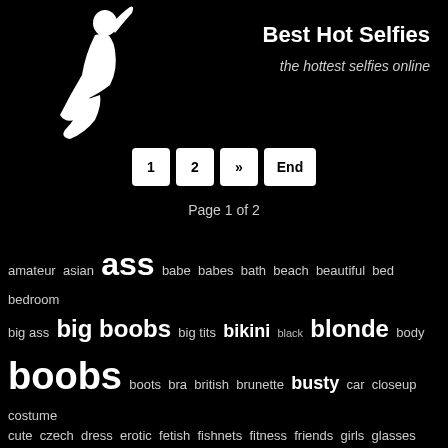[Figure (logo): White silhouette of a kneeling female figure on black background]
Best Hot Selfies
the hottest selfies online
1  2  »  End
Page 1 of 2
amateur  asian  ass  babe  babes  bath  beach  beautiful  bed  bedroom  big ass  big boobs  big tits  bikini  black  blonde  body  boobs  boots  bra  british  brunette  busty  car  closeup  costume  cute  czech  dress  erotic  fetish  fishnets  fitness  friends  girls  glasses  group  heels  homemade  horny  hot  jeans  kinky  lace  latina  leather  lesbian  lingerie  lips  milf  mirrored  naked  natural  outdoor  outfit  panties  piercing